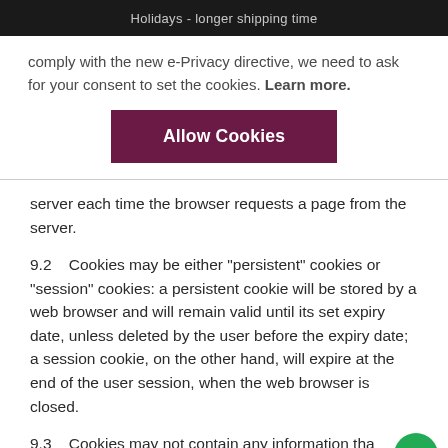Holidays - longer shipping time
comply with the new e-Privacy directive, we need to ask for your consent to set the cookies. Learn more.
[Figure (other): Allow Cookies button — dark maroon/purple rectangle with white bold text 'Allow Cookies']
server each time the browser requests a page from the server.
9.2    Cookies may be either "persistent" cookies or "session" cookies: a persistent cookie will be stored by a web browser and will remain valid until its set expiry date, unless deleted by the user before the expiry date; a session cookie, on the other hand, will expire at the end of the user session, when the web browser is closed.
9.3    Cookies may not contain any information that personally identifies a user, but personal data that